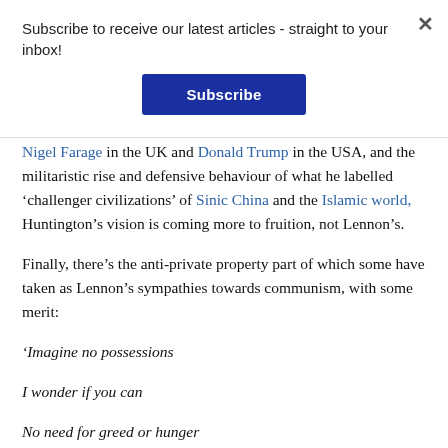Subscribe to receive our latest articles - straight to your inbox!
Subscribe
Nigel Farage in the UK and Donald Trump in the USA, and the militaristic rise and defensive behaviour of what he labelled ‘challenger civilizations’ of Sinic China and the Islamic world, Huntington’s vision is coming more to fruition, not Lennon’s.
Finally, there’s the anti-private property part of which some have taken as Lennon’s sympathies towards communism, with some merit:
‘Imagine no possessions
I wonder if you can
No need for greed or hunger